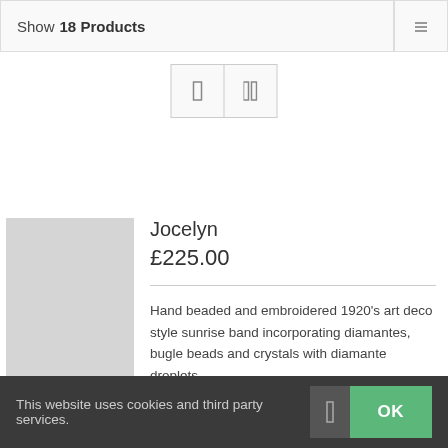Show 18 Products
Jocelyn
£225.00
Hand beaded and embroidered 1920's art deco style sunrise band incorporating diamantes, bugle beads and crystals with diamante droplets
This website uses cookies and third party services.